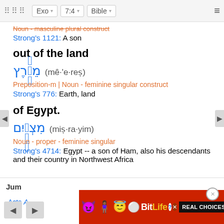⠿⠿⠿  Exo ▾  7:4 ▾  Bible ▾  ≡
Noun - masculine plural construct
Strong's 1121: A son
out of the land
מֵאֶרֶץ (mê·'e·reṣ)
Preposition-m | Noun - feminine singular construct
Strong's 776: Earth, land
of Egypt.
מִצְרָיִם (miṣ·ra·yim)
Noun - proper - feminine singular
Strong's 4714: Egypt -- a son of Ham, also his descendants and their country in Northwest Africa
Jump
Acts A